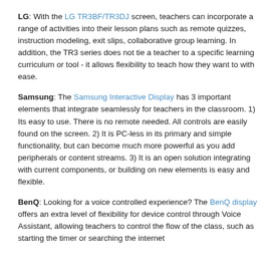LG: With the LG TR3BF/TR3DJ screen, teachers can incorporate a range of activities into their lesson plans such as remote quizzes, instruction modeling, exit slips, collaborative group learning. In addition, the TR3 series does not tie a teacher to a specific learning curriculum or tool - it allows flexibility to teach how they want to with ease.
Samsung: The Samsung Interactive Display has 3 important elements that integrate seamlessly for teachers in the classroom. 1) Its easy to use. There is no remote needed. All controls are easily found on the screen. 2) It is PC-less in its primary and simple functionality, but can become much more powerful as you add peripherals or content streams. 3) It is an open solution integrating with current components, or building on new elements is easy and flexible.
BenQ: Looking for a voice controlled experience? The BenQ display offers an extra level of flexibility for device control through Voice Assistant, allowing teachers to control the flow of the class, such as starting the timer or searching the internet